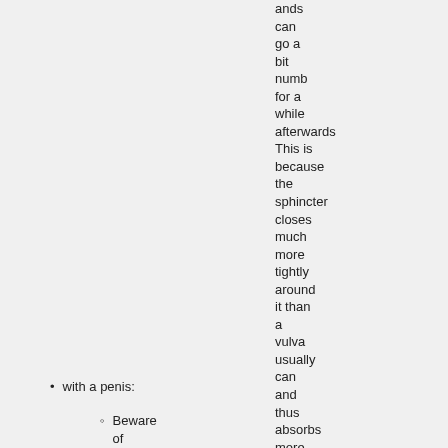ands can go a bit numb for a while afterwards This is because the sphincter closes much more tightly around it than a vulva usually can and thus absorbs more vibration.
with a penis:
Beware of penises that are